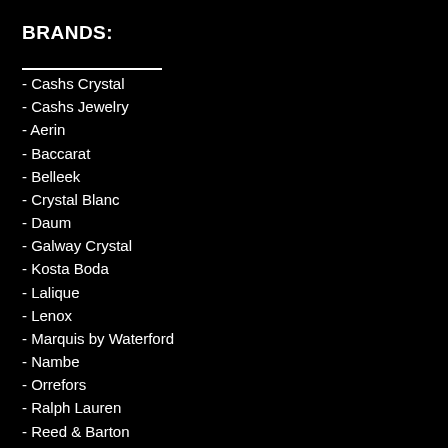BRANDS:
- Cashs Crystal
- Cashs Jewelry
- Aerin
- Baccarat
- Belleek
- Crystal Blanc
- Daum
- Galway Crystal
- Kosta Boda
- Lalique
- Lenox
- Marquis by Waterford
- Nambe
- Orrefors
- Ralph Lauren
- Reed & Barton
- Riedel
- Rogaska
- Royal Albert
- Royal Copenhagen
- Royal Doulton
- Schott Zwiesel
- Steuben
- Swarovski